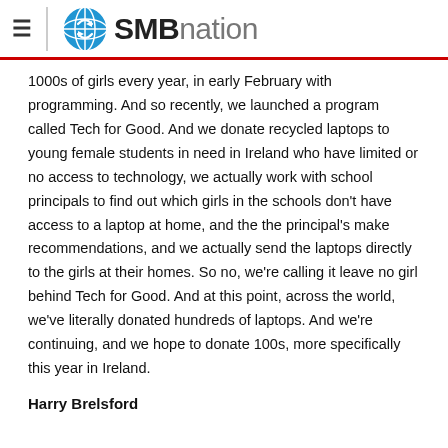SMBnation
1000s of girls every year, in early February with programming. And so recently, we launched a program called Tech for Good. And we donate recycled laptops to young female students in need in Ireland who have limited or no access to technology, we actually work with school principals to find out which girls in the schools don't have access to a laptop at home, and the the principal's make recommendations, and we actually send the laptops directly to the girls at their homes. So no, we're calling it leave no girl behind Tech for Good. And at this point, across the world, we've literally donated hundreds of laptops. And we're continuing, and we hope to donate 100s, more specifically this year in Ireland.
Harry Brelsford